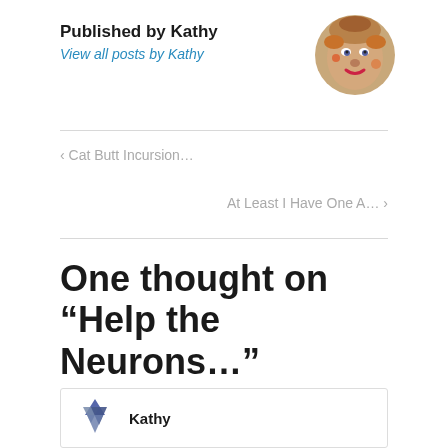Published by Kathy
View all posts by Kathy
[Figure (illustration): Circular avatar portrait of a face with artistic/painted style, showing a person with red lips and decorative hair, round crop]
< Cat Butt Incursion…
At Least I Have One A…  >
One thought on “Help the Neurons…”
[Figure (logo): Stylized logo of overlapping triangular/star shapes in dark blue/grey]
Kathy